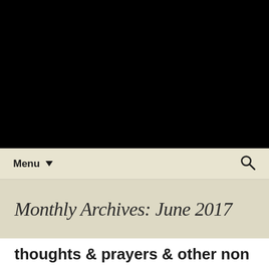[Figure (other): Black header image area at the top of the page]
Menu ▼
Monthly Archives: June 2017
thoughts & prayers & other non